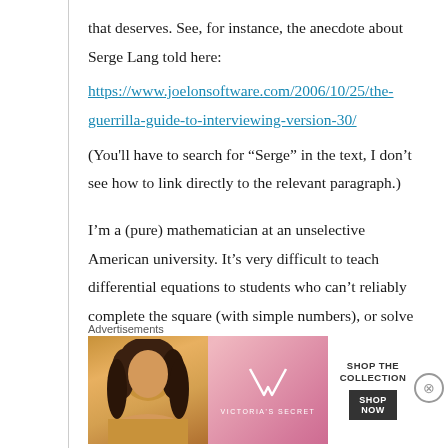that deserves. See, for instance, the anecdote about Serge Lang told here:
https://www.joelonsoftware.com/2006/10/25/the-guerrilla-guide-to-interviewing-version-30/
(You'll have to search for “Serge” in the text, I don’t see how to link directly to the relevant paragraph.)
I’m a (pure) mathematician at an unselective American university. It’s very difficult to teach differential equations to students who can’t reliably complete the square (with simple numbers), or solve a linear equation with small, integer
Advertisements
[Figure (illustration): Victoria's Secret advertisement banner with a model photo on the left, VS logo in center on pink background, and a white 'SHOP NOW' button on the right, with text 'SHOP THE COLLECTION']